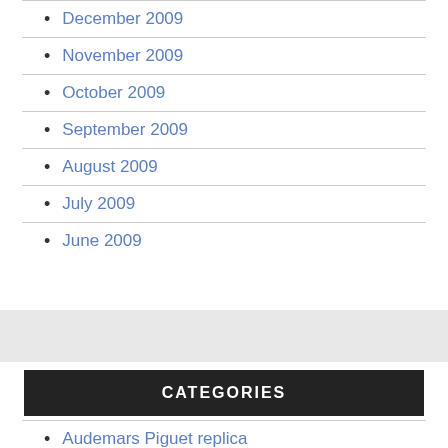December 2009
November 2009
October 2009
September 2009
August 2009
July 2009
June 2009
CATEGORIES
Audemars Piguet replica
Bell & Ross Replica